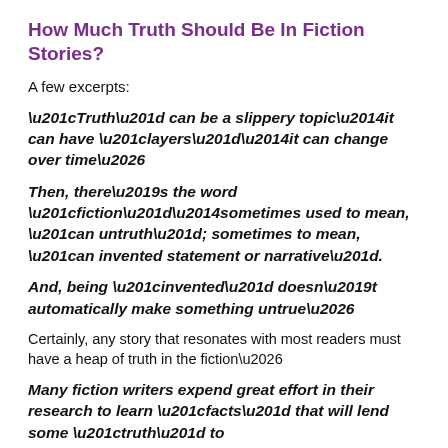How Much Truth Should Be In Fiction Stories?
A few excerpts:
“Truth” can be a slippery topic—it can have “layers”—it can change over time…
Then, there’s the word “fiction”—sometimes used to mean, “an untruth”; sometimes to mean, “an invented statement or narrative”.
And, being “invented” doesn’t automatically make something untrue…
Certainly, any story that resonates with most readers must have a heap of truth in the fiction…
Many fiction writers expend great effort in their research to learn “facts” that will lend some “truth” to